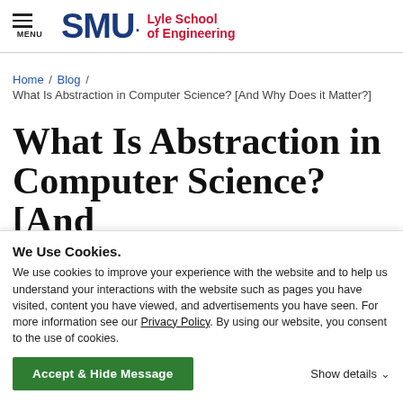SMU Lyle School of Engineering — MENU header with logo
Home / Blog / What Is Abstraction in Computer Science? [And Why Does it Matter?]
What Is Abstraction in Computer Science? [And
We Use Cookies.
We use cookies to improve your experience with the website and to help us understand your interactions with the website such as pages you have visited, content you have viewed, and advertisements you have seen. For more information see our Privacy Policy. By using our website, you consent to the use of cookies.
Accept & Hide Message    Show details